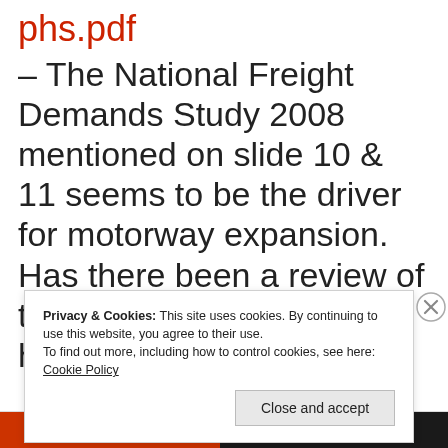phs.pdf
– The National Freight Demands Study 2008 mentioned on slide 10 & 11 seems to be the driver for motorway expansion. Has there been a review of the assumptions in this? I have
Privacy & Cookies: This site uses cookies. By continuing to use this website, you agree to their use.
To find out more, including how to control cookies, see here: Cookie Policy
Close and accept